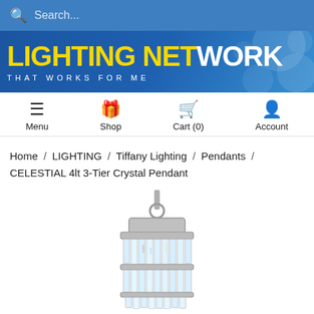Search...
[Figure (logo): Lighting Network logo banner with blue background, yellow 'LIGHTING NET' and white 'WORK' text, tagline 'THAT WORKS FOR ME']
Menu  Shop  Cart (0)  Account
Home / LIGHTING / Tiffany Lighting / Pendants / CELESTIAL 4lt 3-Tier Crystal Pendant
[Figure (photo): Crystal pendant chandelier with silver/chrome frame, three tiers of hanging crystal prisms, shown from above on white background]